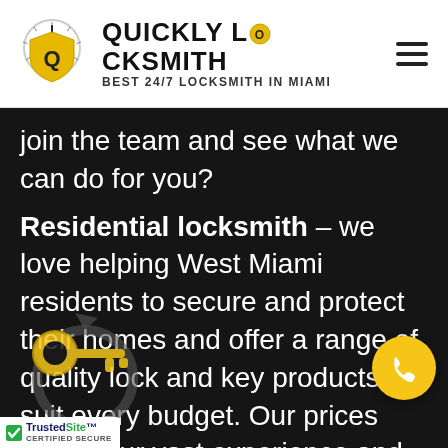[Figure (logo): Quickly Locksmith logo — shield with speedometer graphic, brand name and tagline]
join the team and see what we can do for you?
Residential locksmith – we love helping West Miami residents to secure and protect their homes and offer a range of quality lock and key products to suit every budget. Our prices reflect our vast experience and you'll find them cost-effective and value for money
[Figure (illustration): Yellow key icon with circular arrow/shield overlay]
[Figure (illustration): Yellow circular phone call button]
[Figure (logo): TrustedSite Certified Secure badge]